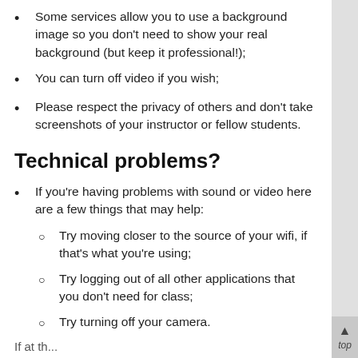Some services allow you to use a background image so you don't need to show your real background (but keep it professional!);
You can turn off video if you wish;
Please respect the privacy of others and don't take screenshots of your instructor or fellow students.
Technical problems?
If you're having problems with sound or video here are a few things that may help:
Try moving closer to the source of your wifi, if that's what you're using;
Try logging out of all other applications that you don't need for class;
Try turning off your camera.